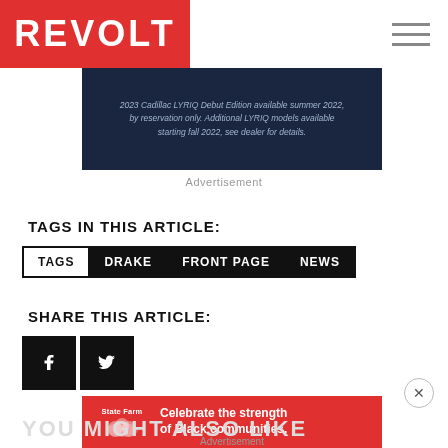REVOLT
[Figure (screenshot): Dark navy advertisement banner for 2023 Cadillac LYRIQ Debut Edition, with text about reservation and availability.]
Advertisement
TAGS IN THIS ARTICLE:
TAGS
DRAKE
FRONT PAGE
NEWS
SHARE THIS ARTICLE:
[Figure (illustration): Social share buttons: Facebook and Twitter icons in black square buttons]
[Figure (illustration): State Farm advertisement banner: Celebrate the strength of Black communities.]
Advertisement
YOU MIGHT ALSO LIKE